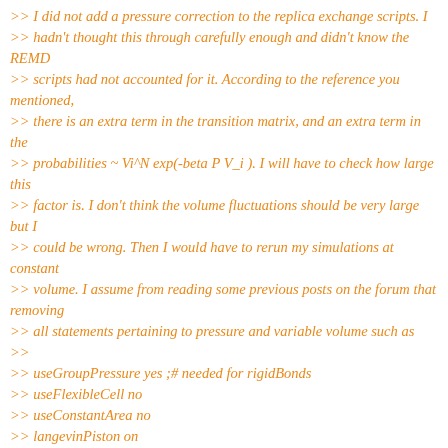>> I did not add a pressure correction to the replica exchange scripts. I
>> hadn't thought this through carefully enough and didn't know the REMD
>> scripts had not accounted for it. According to the reference you mentioned,
>> there is an extra term in the transition matrix, and an extra term in the
>> probabilities ~ Vi^N exp(-beta P V_i ). I will have to check how large this
>> factor is. I don't think the volume fluctuations should be very large but I
>> could be wrong. Then I would have to rerun my simulations at constant
>> volume. I assume from reading some previous posts on the forum that removing
>> all statements pertaining to pressure and variable volume such as
>>
>> useGroupPressure yes ;# needed for rigidBonds
>> useFlexibleCell no
>> useConstantArea no
>> langevinPiston on
>> langevinPistonTarget 1.01325 ;# in bar -> 1 atm
>> langevinPistonPeriod 100.